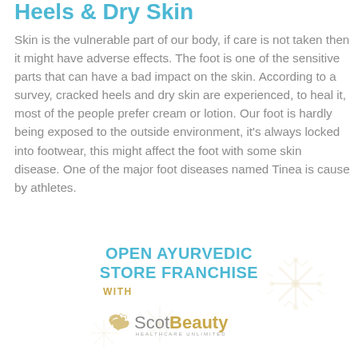Heels & Dry Skin
Skin is the vulnerable part of our body, if care is not taken then it might have adverse effects. The foot is one of the sensitive parts that can have a bad impact on the skin. According to a survey, cracked heels and dry skin are experienced, to heal it, most of the people prefer cream or lotion. Our foot is hardly being exposed to the outside environment, it's always locked into footwear, this might affect the foot with some skin disease. One of the major foot diseases named Tinea is cause by athletes.
[Figure (illustration): Promotional banner with text 'OPEN AYURVEDIC STORE FRANCHISE WITH' in teal and gold colors, decorative snowflake patterns, and Scot Beauty Healthcare Unlimited logo with a bird icon.]